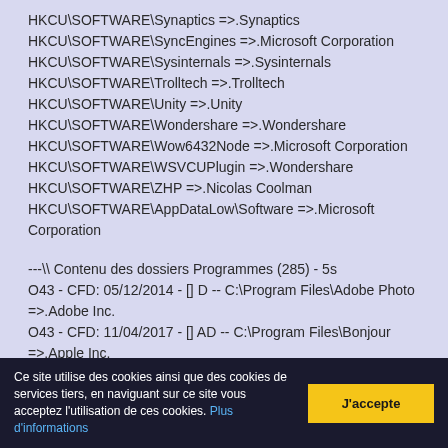HKCU\SOFTWARE\Synaptics =>.Synaptics
HKCU\SOFTWARE\SyncEngines =>.Microsoft Corporation
HKCU\SOFTWARE\Sysinternals =>.Sysinternals
HKCU\SOFTWARE\Trolltech =>.Trolltech
HKCU\SOFTWARE\Unity =>.Unity
HKCU\SOFTWARE\Wondershare =>.Wondershare
HKCU\SOFTWARE\Wow6432Node =>.Microsoft Corporation
HKCU\SOFTWARE\WSVCUPlugin =>.Wondershare
HKCU\SOFTWARE\ZHP =>.Nicolas Coolman
HKCU\SOFTWARE\AppDataLow\Software =>.Microsoft Corporation
---\\ Contenu des dossiers Programmes (285) - 5s
O43 - CFD: 05/12/2014 - [] D -- C:\Program Files\Adobe Photo =>.Adobe Inc.
O43 - CFD: 11/04/2017 - [] AD -- C:\Program Files\Bonjour =>.Apple Inc.
O43 - CFD: 16/05/2017 - [] AD -- C:\Program Files\CCleaner =>.Piriform Ltd
Ce site utilise des cookies ainsi que des cookies de services tiers, en naviguant sur ce site vous acceptez l'utilisation de ces cookies. Plus d'informations
J'accepte